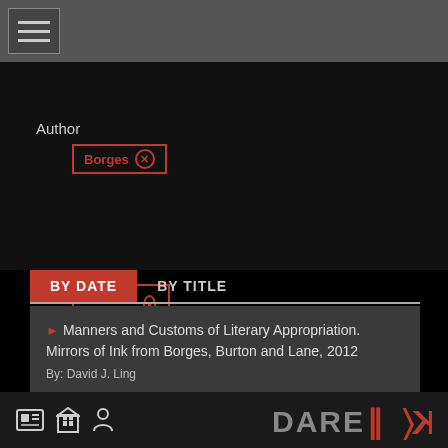[Figure (screenshot): Navigation hamburger menu icon in a grey bar at the top]
Borges ×
Author
"David J. Ling" ×
BY DATE   BY TITLE
Manners and Customs of Literary Appropriation. Mirrors of Ink from Borges, Burton and Lane, 2012
By: David J. Ling
PAGE 1 OF 1
[Figure (logo): DARE logo with stylized KDK symbol in orange/red on the right side of the footer]
Footer icons: contact card, building, person